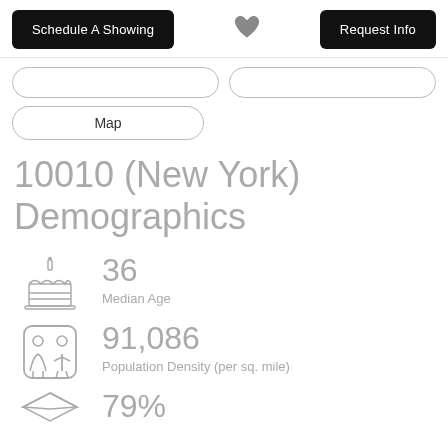Schedule A Showing | [heart] | Request Info
[tab pills row 1]
Map
10010 (New York) Demographics
36
Median Age
91,086
Population Density (per sq. mile)
79%